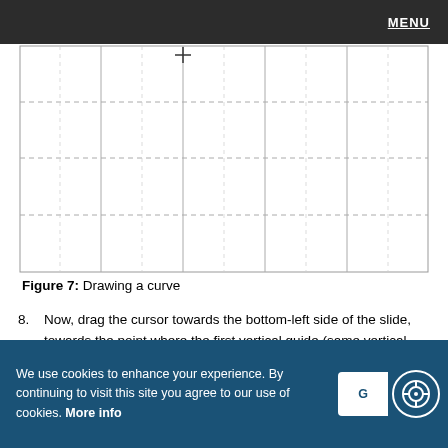MENU
[Figure (other): Grid drawing aid with dashed horizontal and solid vertical lines showing a curve-drawing guide. A crosshair/plus symbol appears at the top center of the grid.]
Figure 7: Drawing a curve
8. Now, drag the cursor towards the bottom-left side of the slide, towards the point where the first vertical guide (same vertical where the starting point was established) intersects the last horizontal guide, to create an arc, as shown in Figure 8.
We use cookies to enhance your experience. By continuing to visit this site you agree to our use of cookies. More info